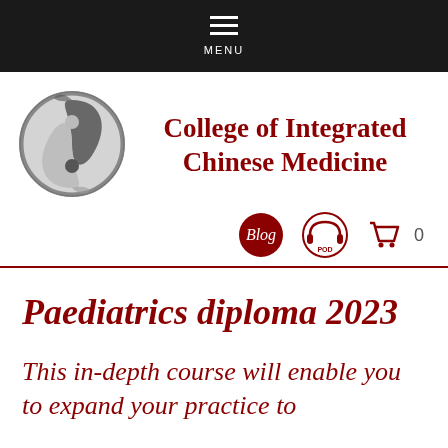MENU
[Figure (logo): College of Integrated Chinese Medicine logo — circular emblem with yin-yang fish design in grayscale]
College of Integrated Chinese Medicine
[Figure (infographic): Navigation icons: Blog (red circle), PODCAST (headphones circle), shopping cart with 0]
Paediatrics diploma 2023
This in-depth course will enable you to expand your practice to